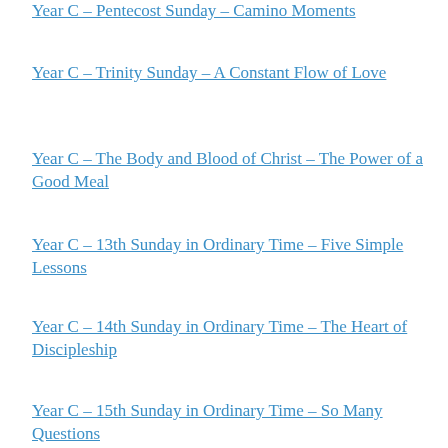Year C – Pentecost Sunday – Camino Moments
Year C – Trinity Sunday – A Constant Flow of Love
Year C – The Body and Blood of Christ – The Power of a Good Meal
Year C – 13th Sunday in Ordinary Time – Five Simple Lessons
Year C – 14th Sunday in Ordinary Time – The Heart of Discipleship
Year C – 15th Sunday in Ordinary Time – So Many Questions